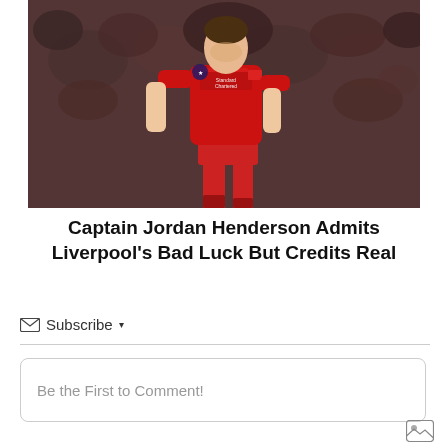[Figure (photo): Liverpool FC player Jordan Henderson in red jersey with Standard Chartered sponsor, Champions League match, crowd in background]
Captain Jordan Henderson Admits Liverpool's Bad Luck But Credits Real
✉ Subscribe ▾
Be the First to Comment!